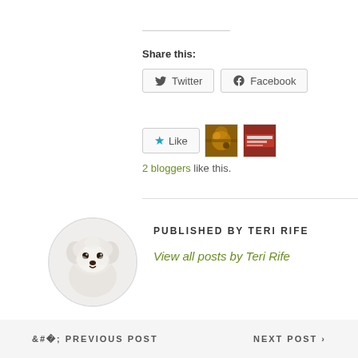Share this:
Twitter
Facebook
Like
2 bloggers like this.
PUBLISHED BY TERI RIFE
[Figure (photo): Circular avatar photo of a white fluffy dog (Maltese) on a white background]
View all posts by Teri Rife
< PREVIOUS POST   NEXT POST >